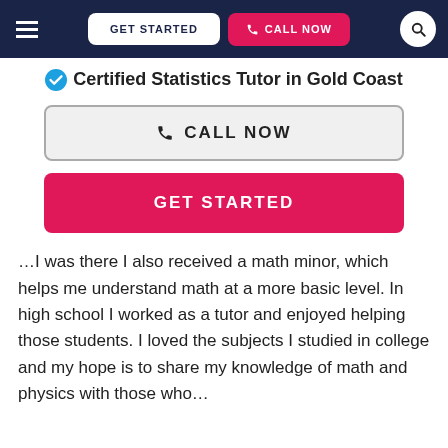GET STARTED | CALL NOW
Certified Statistics Tutor in Gold Coast
CALL NOW
GET STARTED
…I was there I also received a math minor, which helps me understand math at a more basic level. In high school I worked as a tutor and enjoyed helping those students. I loved the subjects I studied in college and my hope is to share my knowledge of math and physics with those who…